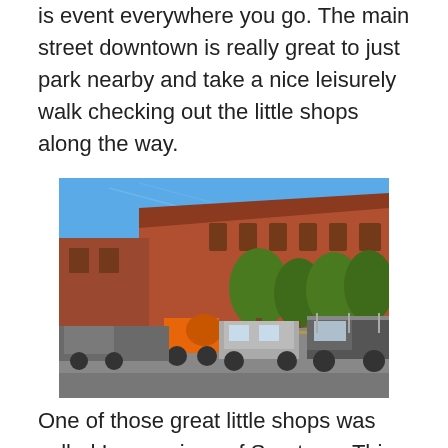is event everywhere you go. The main street downtown is really great to just park nearby and take a nice leisurely walk checking out the little shops along the way.
[Figure (photo): Street-level photo of a historic downtown area with a large red brick building. Cars and vehicles including an orange cement mixer are parked along the street. Green trees line the sidewalk under a bright blue sky.]
One of those great little shops was called Impressions of Saratoga.  This had tons of great souvenirs and the people working there were very friendly.  Just inside the front door